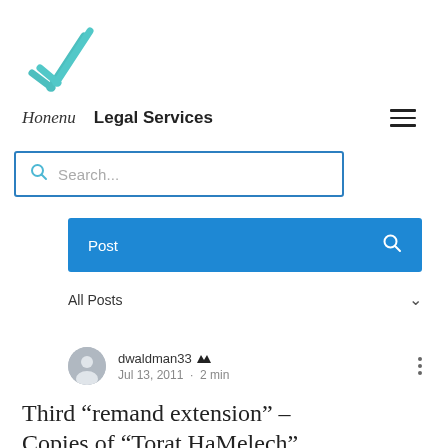[Figure (logo): Teal/turquoise checkmark-style logo mark with diagonal stripes]
Honenu   Legal Services
[Figure (screenshot): Search bar with blue border and search icon]
Post
All Posts
dwaldman33  Jul 13, 2011 · 2 min
Third “remand extension” – Copies of “Torat HaMelech”